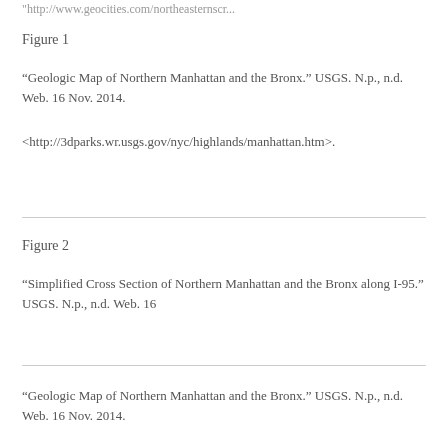“http://www.geocities.com/northeasternscr....”
Figure 1
“Geologic Map of Northern Manhattan and the Bronx.” USGS. N.p., n.d. Web. 16 Nov. 2014.
<http://3dparks.wr.usgs.gov/nyc/highlands/manhattan.htm>.
Figure 2
“Simplified Cross Section of Northern Manhattan and the Bronx along I-95.” USGS. N.p., n.d. Web. 16
“Geologic Map of Northern Manhattan and the Bronx.” USGS. N.p., n.d. Web. 16 Nov. 2014.